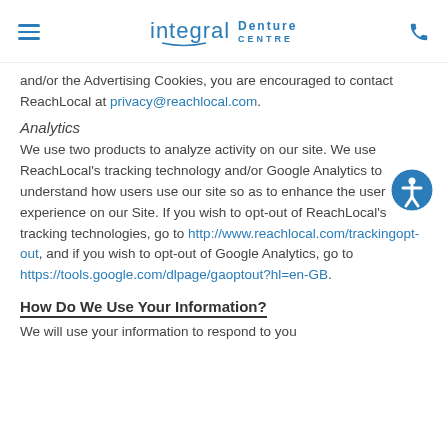integral Denture CENTRE
and/or the Advertising Cookies, you are encouraged to contact ReachLocal at privacy@reachlocal.com.
Analytics
We use two products to analyze activity on our site. We use ReachLocal's tracking technology and/or Google Analytics to understand how users use our site so as to enhance the user experience on our Site. If you wish to opt-out of ReachLocal's tracking technologies, go to http://www.reachlocal.com/trackingopt-out, and if you wish to opt-out of Google Analytics, go to https://tools.google.com/dlpage/gaoptout?hl=en-GB.
How Do We Use Your Information?
We will use your information to respond to you